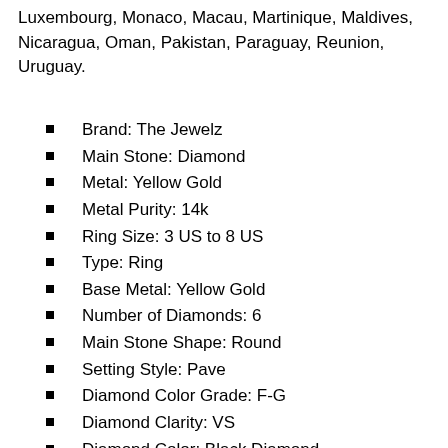Luxembourg, Monaco, Macau, Martinique, Maldives, Nicaragua, Oman, Pakistan, Paraguay, Reunion, Uruguay.
Brand: The Jewelz
Main Stone: Diamond
Metal: Yellow Gold
Metal Purity: 14k
Ring Size: 3 US to 8 US
Type: Ring
Base Metal: Yellow Gold
Number of Diamonds: 6
Main Stone Shape: Round
Setting Style: Pave
Diamond Color Grade: F-G
Diamond Clarity: VS
Diamond Color: Black Diamond
Diamond Setting: Pave